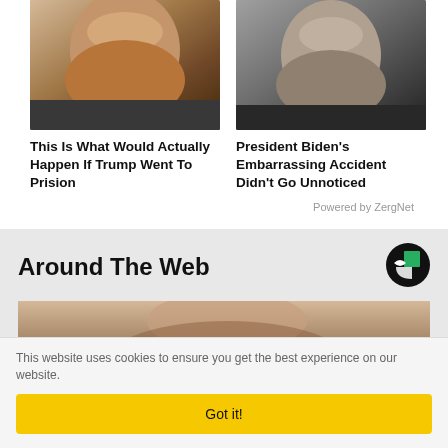[Figure (photo): Close-up photo of Donald Trump with serious expression]
This Is What Would Actually Happen If Trump Went To Prision
[Figure (photo): Close-up photo of President Biden with concerned expression]
President Biden's Embarrassing Accident Didn't Go Unnoticed
Powered by ZergNet
Around The Web
[Figure (logo): Outbrain logo - black circle with green square]
[Figure (photo): Close-up photo of a woman with dark hair and glasses]
This website uses cookies to ensure you get the best experience on our website.
Got it!